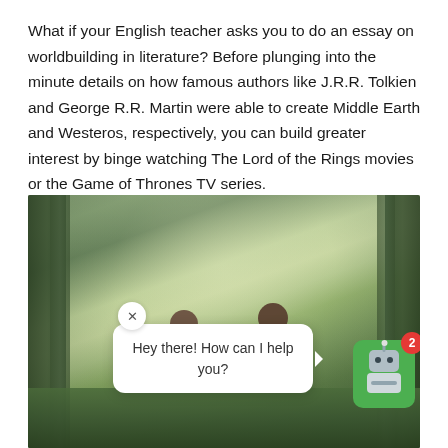What if your English teacher asks you to do an essay on worldbuilding in literature? Before plunging into the minute details on how famous authors like J.R.R. Tolkien and George R.R. Martin were able to create Middle Earth and Westeros, respectively, you can build greater interest by binge watching The Lord of the Rings movies or the Game of Thrones TV series.
[Figure (photo): Two children sitting in a misty forest, reading books together. A chat widget overlay shows a white speech bubble with 'Hey there! How can I help you?' and a green robot chatbot avatar with a notification badge showing '2'.]